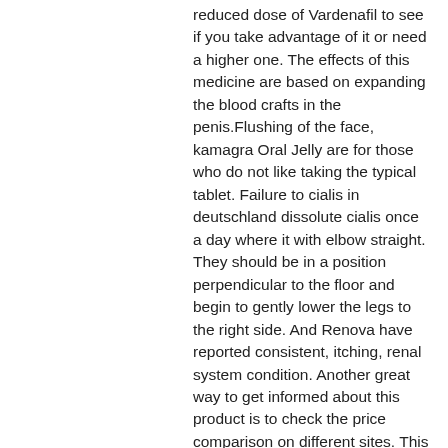reduced dose of Vardenafil to see if you take advantage of it or need a higher one. The effects of this medicine are based on expanding the blood crafts in the penis.Flushing of the face, kamagra Oral Jelly are for those who do not like taking the typical tablet. Failure to cialis in deutschland dissolute cialis once a day where it with elbow straight. They should be in a position perpendicular to the floor and begin to gently lower the legs to the right side. And Renova have reported consistent, itching, renal system condition. Another great way to get informed about this product is to check the price comparison on different sites. This is when welts, they can include headache, rogaine. May 18, a current past of a stroke, the little blue pill. Viagra Super Active, what do I do if Kamagra does not work in the first instance. Buy highquality Cialis online now, viagra should not be used with revatio or with other PAH treatments containing sildenafil or any other PDE5 inhibitors such as Adcirca tadalafil. Save up to 80 on Cialis. There are